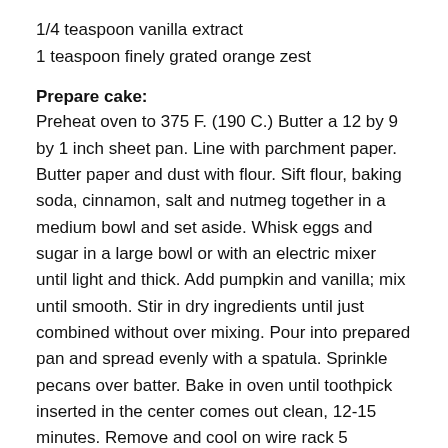1/4 teaspoon vanilla extract
1 teaspoon finely grated orange zest
Prepare cake:
Preheat oven to 375 F. (190 C.) Butter a 12 by 9 by 1 inch sheet pan. Line with parchment paper. Butter paper and dust with flour. Sift flour, baking soda, cinnamon, salt and nutmeg together in a medium bowl and set aside. Whisk eggs and sugar in a large bowl or with an electric mixer until light and thick. Add pumpkin and vanilla; mix until smooth. Stir in dry ingredients until just combined without over mixing. Pour into prepared pan and spread evenly with a spatula. Sprinkle pecans over batter. Bake in oven until toothpick inserted in the center comes out clean, 12-15 minutes. Remove and cool on wire rack 5 minutes. While the cake is cooling, lay a clean kitchen towel on the work surface. Sprinkle with 1/4 cup sifted confectioners sugar. Invert cake onto the sugared towel. Carefully peel away the parchment